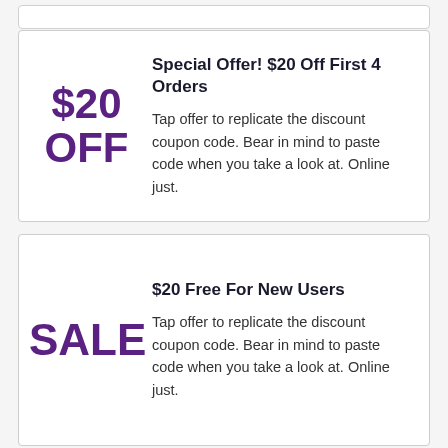Special Offer! $20 Off First 4 Orders
Tap offer to replicate the discount coupon code. Bear in mind to paste code when you take a look at. Online just.
$20 Free For New Users
Tap offer to replicate the discount coupon code. Bear in mind to paste code when you take a look at. Online just.